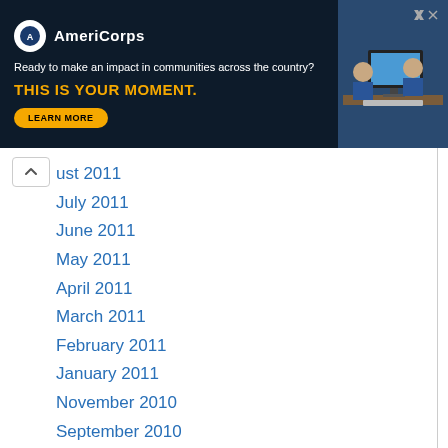[Figure (other): AmeriCorps advertisement banner. Logo with text 'AmeriCorps'. Tagline: 'Ready to make an impact in communities across the country?'. Headline: 'THIS IS YOUR MOMENT.' with a 'LEARN MORE' button. Photo of students at computers on right side.]
ust 2011
July 2011
June 2011
May 2011
April 2011
March 2011
February 2011
January 2011
November 2010
September 2010
August 2010
July 2010
June 2010
May 2010
April 2010
March 2010
January 2010
October 2009
July 2009